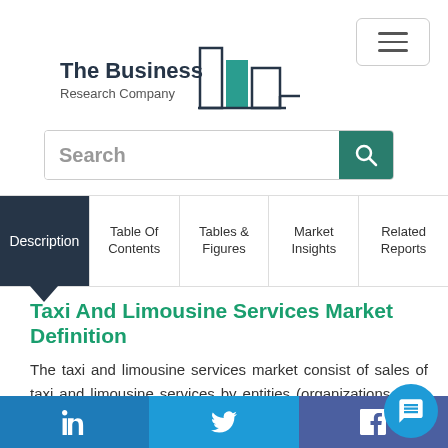[Figure (logo): The Business Research Company logo with building icon in teal/dark]
[Figure (screenshot): Search bar with magnifying glass button in teal]
Description | Table Of Contents | Tables & Figures | Market Insights | Related Reports
Taxi And Limousine Services Market Definition
The taxi and limousine services market consist of sales of taxi and limousine services by entities (organizations, sole traders and partnerships) that provide passenger
[Figure (screenshot): Social media footer bar with LinkedIn, Twitter, Facebook icons and chat bubble]